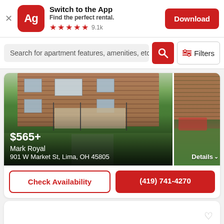Switch to the App — Find the perfect rental. ★★★★★ 9.1k  [Download]
Search for apartment features, amenities, etc
[Figure (photo): Exterior photo of Mark Royal apartment building at 901 W Market St, Lima OH 45805, showing brick building with steps and walkway, green lawn]
$565+
Mark Royal
901 W Market St, Lima, OH 45805
Details ∨
Check Availability
(419) 741-4270